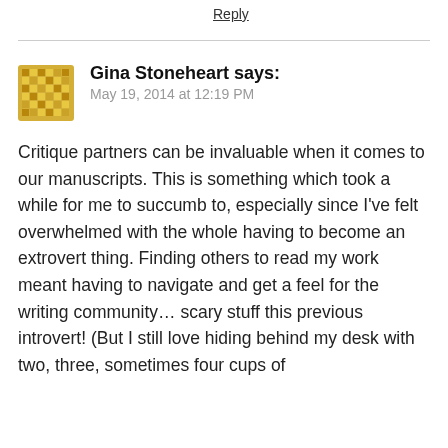Reply
Gina Stoneheart says:
May 19, 2014 at 12:19 PM
Critique partners can be invaluable when it comes to our manuscripts. This is something which took a while for me to succumb to, especially since I've felt overwhelmed with the whole having to become an extrovert thing. Finding others to read my work meant having to navigate and get a feel for the writing community… scary stuff this previous introvert! (But I still love hiding behind my desk with two, three, sometimes four cups of